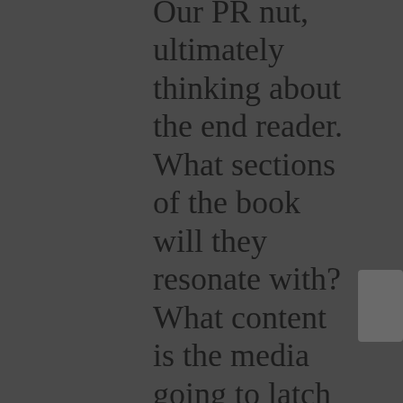Our PR nut, ultimately thinking about the end reader. What sections of the book will they resonate with? What content is the media going to latch onto? Is there new data? A counterintuitive point? A provocative quote or section? What problem is the author solving for the reader? How can it be connected to news of the day or current trends? Is there a behind the scenes sneak peek? I highlight, dog ear and take copious notes in the